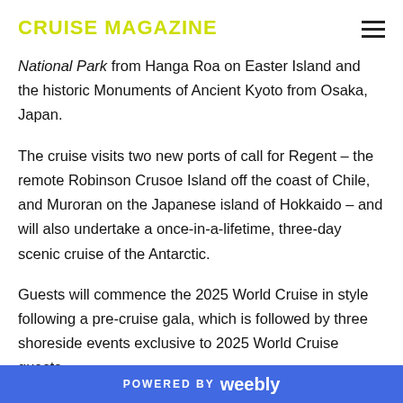CRUISE MAGAZINE
National Park from Hanga Roa on Easter Island and the historic Monuments of Ancient Kyoto from Osaka, Japan.
The cruise visits two new ports of call for Regent – the remote Robinson Crusoe Island off the coast of Chile, and Muroran on the Japanese island of Hokkaido – and will also undertake a once-in-a-lifetime, three-day scenic cruise of the Antarctic.
Guests will commence the 2025 World Cruise in style following a pre-cruise gala, which is followed by three shoreside events exclusive to 2025 World Cruise guests
POWERED BY weebly